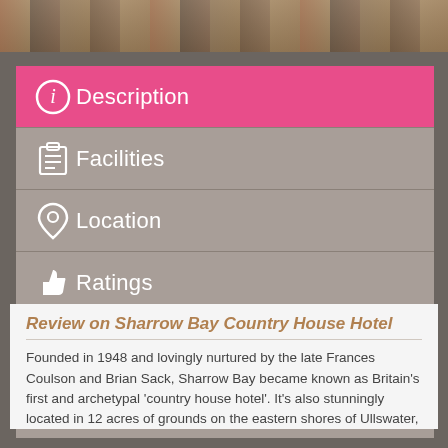[Figure (photo): Decorative photo strip at the top showing outdoor/garden imagery]
Description (active/selected tab, pink background)
Facilities
Location
Ratings
Menu
Images
Review on Sharrow Bay Country House Hotel
Founded in 1948 and lovingly nurtured by the late Frances Coulson and Brian Sack, Sharrow Bay became known as Britain's first and archetypal 'country house hotel'. It's also stunningly located in 12 acres of grounds on the eastern shores of Ullswater,